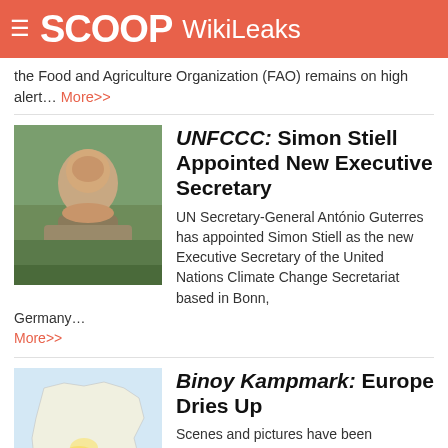SCOOP WikiLeaks
the Food and Agriculture Organization (FAO) remains on high alert... More>>
UNFCCC: Simon Stiell Appointed New Executive Secretary
UN Secretary-General António Guterres has appointed Simon Stiell as the new Executive Secretary of the United Nations Climate Change Secretariat based in Bonn, Germany... More>>
Binoy Kampmark: Europe Dries Up
Scenes and pictures have been circulating of broken earth, lacking moisture, cracked and yearning. But these are not from traditional drought-stricken parts of the planet, where the animal carcass assumes near totemic power... More>>